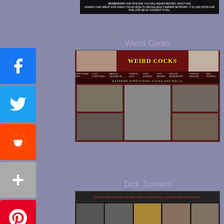[Figure (screenshot): Top banner advertisement for adult network membership site]
[Figure (infographic): Social media sharing sidebar with Facebook, Twitter, Reddit, Plus, Pinterest, Mail, and More icons]
Weird Cocks
[Figure (screenshot): Screenshot of adult website called Weird Cocks showing extreme content]
Dick Torment
[Figure (screenshot): Screenshot of adult website called Dick Torment]